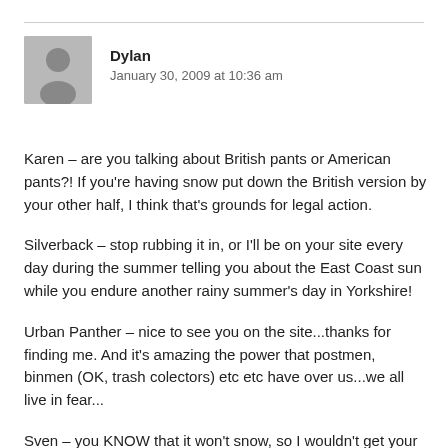[Figure (illustration): Grey placeholder avatar silhouette icon]
Dylan
January 30, 2009 at 10:36 am
Karen – are you talking about British pants or American pants?! If you're having snow put down the British version by your other half, I think that's grounds for legal action.
Silverback – stop rubbing it in, or I'll be on your site every day during the summer telling you about the East Coast sun while you endure another rainy summer's day in Yorkshire!
Urban Panther – nice to see you on the site...thanks for finding me. And it's amazing the power that postmen, binmen (OK, trash colectors) etc etc have over us...we all live in fear...
Sven – you KNOW that it won't snow, so I wouldn't get your